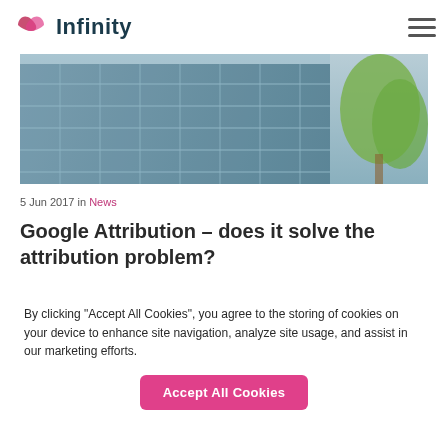Infinity
[Figure (photo): Exterior photo of a modern glass office building with trees visible on the right side]
5 Jun 2017 in News
Google Attribution – does it solve the attribution problem?
When Google announced their intention to look…
By clicking "Accept All Cookies", you agree to the storing of cookies on your device to enhance site navigation, analyze site usage, and assist in our marketing efforts.
Accept All Cookies